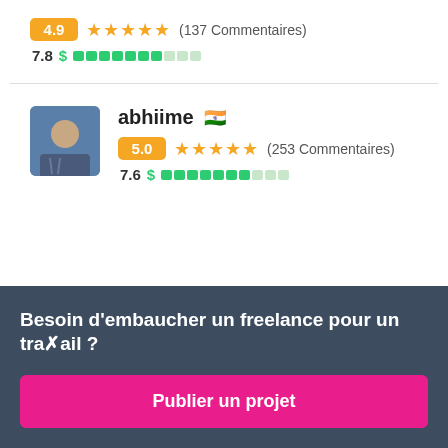4.9 ★★★★★ (137 Commentaires)
7.8 $ [progress bar]
abhiime 🇮🇳
5.0 ★★★★★ (253 Commentaires)
7.6 $ [progress bar]
Besoin d'embaucher un freelance pour un travail ?
Publier un projet